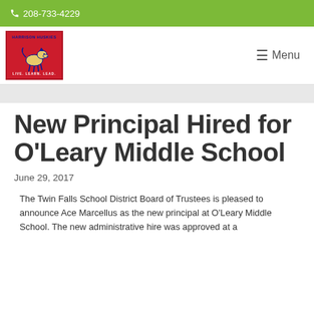☎ 208-733-4229
[Figure (logo): Harrison Huskies school logo — red background with husky dog, text 'Harrison Huskies' and 'Live. Learn. Lead.']
New Principal Hired for O'Leary Middle School
June 29, 2017
The Twin Falls School District Board of Trustees is pleased to announce Ace Marcellus as the new principal at O'Leary Middle School. The new administrative hire was approved at a